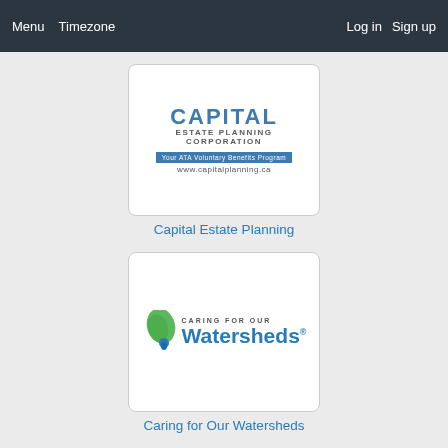Menu  Timezone  Log in  Sign up
[Figure (logo): Capital Estate Planning Corporation logo with tagline 'Your ATA Voluntary Benefits Program' and website www.capitalplanning.ca]
Capital Estate Planning
[Figure (logo): Caring for Our Watersheds logo with green leaf and water drop icon]
Caring for Our Watersheds